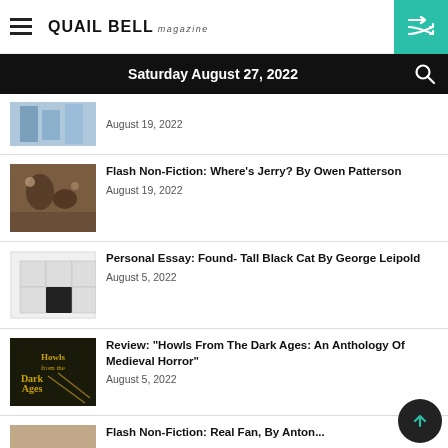Quail Bell Magazine — Saturday August 27, 2022
August 19, 2022
Flash Non-Fiction: Where's Jerry? By Owen Patterson — August 19, 2022
Personal Essay: Found- Tall Black Cat By George Leipold — August 5, 2022
Review: "Howls From The Dark Ages: An Anthology Of Medieval Horror" — August 5, 2022
Flash Non-Fiction: ... (partial)